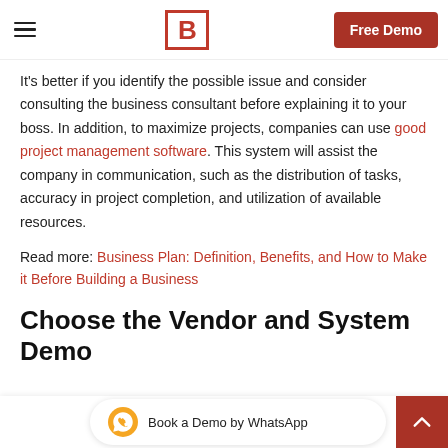B | Free Demo
It's better if you identify the possible issue and consider consulting the business consultant before explaining it to your boss. In addition, to maximize projects, companies can use good project management software. This system will assist the company in communication, such as the distribution of tasks, accuracy in project completion, and utilization of available resources.
Read more: Business Plan: Definition, Benefits, and How to Make it Before Building a Business
Choose the Vendor and System Demo